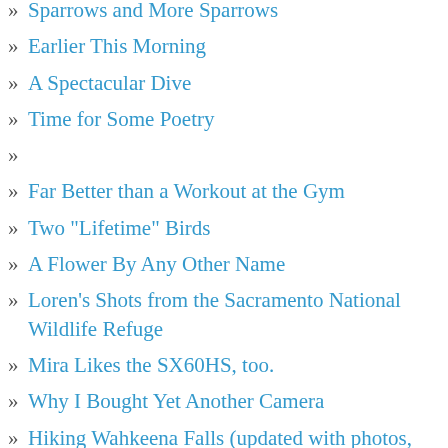Sparrows and More Sparrows
Earlier This Morning
A Spectacular Dive
Time for Some Poetry
Far Better than a Workout at the Gym
Two "Lifetime" Birds
A Flower By Any Other Name
Loren's Shots from the Sacramento National Wildlife Refuge
Mira Likes the SX60HS, too.
Why I Bought Yet Another Camera
Hiking Wahkeena Falls (updated with photos, duh)
Logan's Shots from Mt. St. Helens
Great Blue Heron Fishing
Great Blue Heron